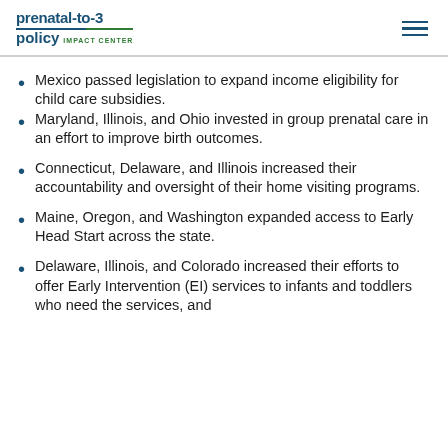prenatal-to-3 policy IMPACT CENTER
Mexico passed legislation to expand income eligibility for child care subsidies.
Maryland, Illinois, and Ohio invested in group prenatal care in an effort to improve birth outcomes.
Connecticut, Delaware, and Illinois increased their accountability and oversight of their home visiting programs.
Maine, Oregon, and Washington expanded access to Early Head Start across the state.
Delaware, Illinois, and Colorado increased their efforts to offer Early Intervention (EI) services to infants and toddlers who need the services, and